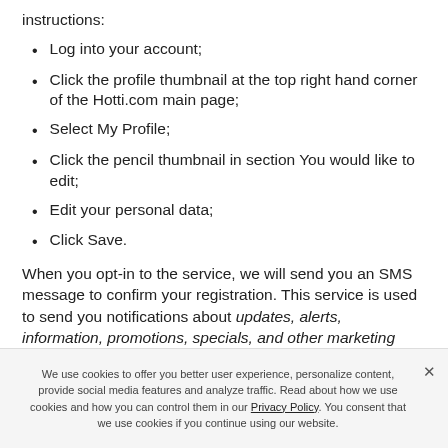instructions:
Log into your account;
Click the profile thumbnail at the top right hand corner of the Hotti.com main page;
Select My Profile;
Click the pencil thumbnail in section You would like to edit;
Edit your personal data;
Click Save.
When you opt-in to the service, we will send you an SMS message to confirm your registration. This service is used to send you notifications about updates, alerts, information, promotions, specials, and other marketing offers. You can cancel the SMS service at any time:
We use cookies to offer you better user experience, personalize content, provide social media features and analyze traffic. Read about how we use cookies and how you can control them in our Privacy Policy. You consent that we use cookies if you continue using our website.